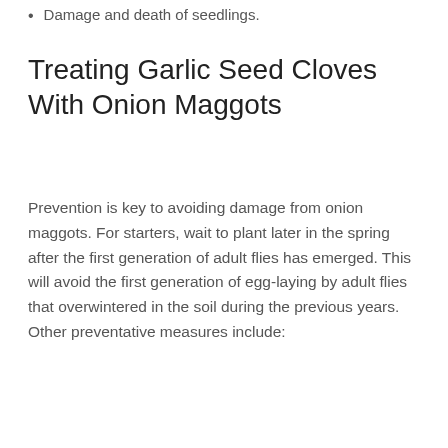Damage and death of seedlings.
Treating Garlic Seed Cloves With Onion Maggots
Prevention is key to avoiding damage from onion maggots. For starters, wait to plant later in the spring after the first generation of adult flies has emerged. This will avoid the first generation of egg-laying by adult flies that overwintered in the soil during the previous years. Other preventative measures include: